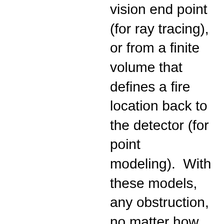vision end point (for ray tracing), or from a finite volume that defines a fire location back to the detector (for point modeling).  With these models, any obstruction, no matter how small, is expected to be able to obstruct the view of a fire detector and thus create a “shadow” in the coverage map.  The reality of the matter is that fires have volume, and something like a 1/8” diameter instrument tube cannot obstruct a fire whose size is  about 1 foot in diameter and 3 feet high (typical for the design basis